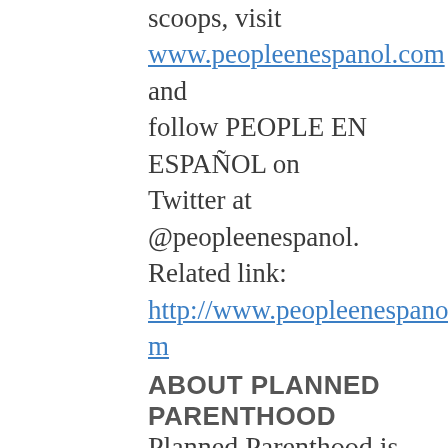scoops, visit www.peopleenespanol.com and follow PEOPLE EN ESPAÑOL on Twitter at @peopleenespanol. Related link: http://www.peopleenespanol.com
ABOUT PLANNED PARENTHOOD
Planned Parenthood is the nation's leading provider and advocate of high-quality, affordable health care for women, men, and young people, as well as the nation's largest provider of sex education. With